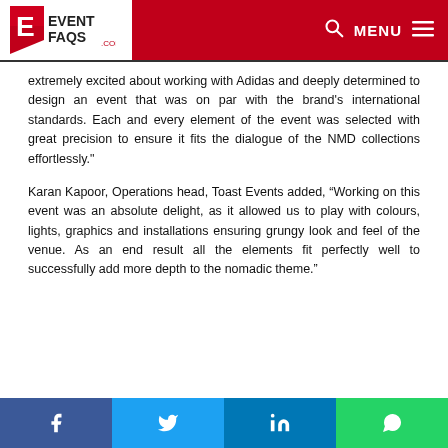[Figure (logo): EventFaqs.com logo with red E icon and text, with red navigation bar showing search icon, MENU text and hamburger icon]
extremely excited about working with Adidas and deeply determined to design an event that was on par with the brand's international standards. Each and every element of the event was selected with great precision to ensure it fits the dialogue of the NMD collections effortlessly."
Karan Kapoor, Operations head, Toast Events added, “Working on this event was an absolute delight, as it allowed us to play with colours, lights, graphics and installations ensuring grungy look and feel of the venue. As an end result all the elements fit perfectly well to successfully add more depth to the nomadic theme."
[Figure (infographic): Social media share bar with Facebook, Twitter, LinkedIn, and WhatsApp buttons]